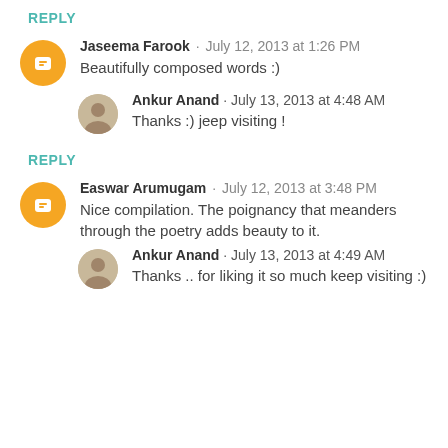REPLY
Jaseema Farook · July 12, 2013 at 1:26 PM
Beautifully composed words :)
Ankur Anand · July 13, 2013 at 4:48 AM
Thanks :) jeep visiting !
REPLY
Easwar Arumugam · July 12, 2013 at 3:48 PM
Nice compilation. The poignancy that meanders through the poetry adds beauty to it.
Ankur Anand · July 13, 2013 at 4:49 AM
Thanks .. for liking it so much keep visiting :)